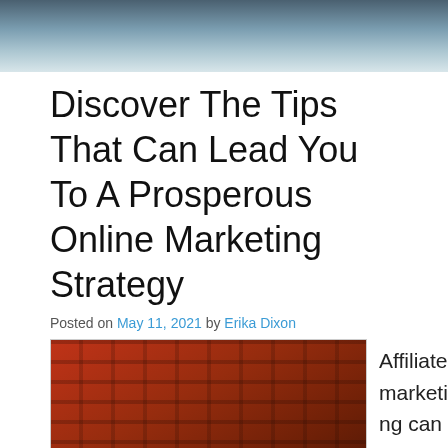[Figure (photo): Top cropped photo showing a person's midsection/lap area, partially visible]
Discover The Tips That Can Lead You To A Prosperous Online Marketing Strategy
Posted on May 11, 2021 by Erika Dixon
[Figure (photo): Person sitting and typing on a laptop in front of a brick wall background]
Affiliate marketing can be a great way for website owners